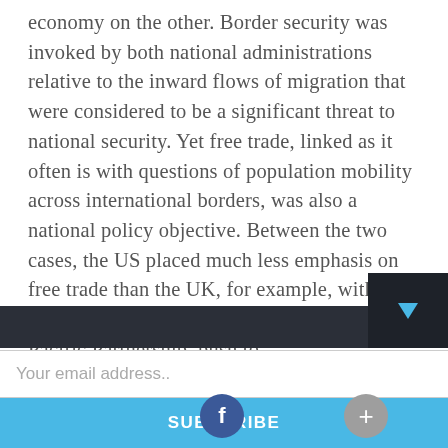economy on the other. Border security was invoked by both national administrations relative to the inward flows of migration that were considered to be a significant threat to national security. Yet free trade, linked as it often is with questions of population mobility across international borders, was also a national policy objective. Between the two cases, the US placed much less emphasis on free trade than the UK, for example, with President Trump’s withdrawal from the Trans-Pacific Partnership, push to
Your email address..
SUBSCRIBE